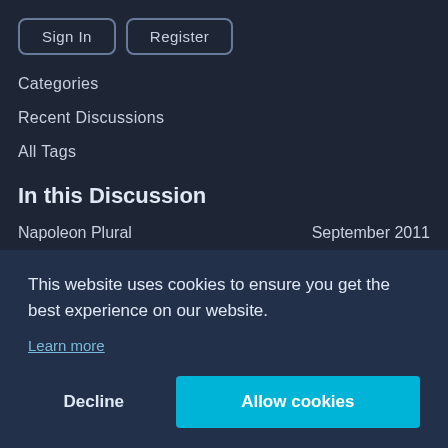Sign In
Register
Categories
Recent Discussions
All Tags
In this Discussion
Napoleon Plural	September 2011
Sir Miles	September 2011
This website uses cookies to ensure you get the best experience on our website.
Learn more
Decline
Allow cookies
Mr Beech	August 2011